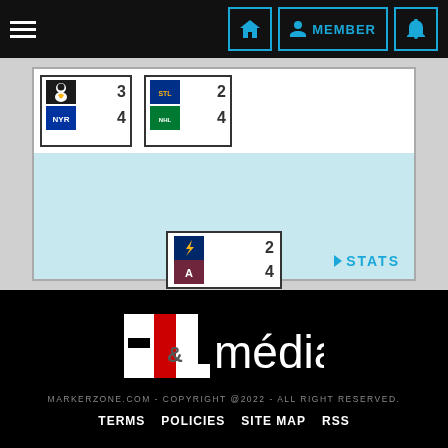Navigation bar with hamburger menu, home, MEMBER, and bell icons
[Figure (screenshot): NHL playoff bracket showing matchups: Pittsburgh Penguins 3 vs NY Rangers 4, St. Louis Blues 2 vs Blues/Lightning 4, center matchup Tampa Bay Lightning 2 vs Colorado Avalanche 4]
STATS
[Figure (logo): H&L média logo in white and red on black background]
MARKERZONE.COM - COPYRIGHT @2022 - ALL RIGHT RESERVED.
TERMS   POLICIES   SITE MAP   RSS